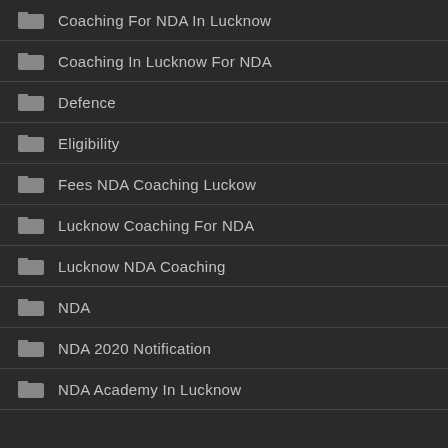Coaching For NDA In Lucknow
Coaching In Lucknow For NDA
Defence
Eligibility
Fees NDA Coaching Luckow
Lucknow Coaching For NDA
Lucknow NDA Coaching
NDA
NDA 2020 Notification
NDA Academy In Lucknow